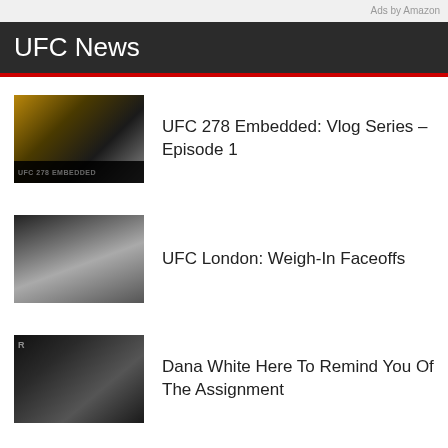Ads by Amazon
UFC News
UFC 278 Embedded: Vlog Series – Episode 1
UFC London: Weigh-In Faceoffs
Dana White Here To Remind You Of The Assignment
Anderson Silva Secures Highlight-Worthy KO Win Over Forrest Griffin | UFC 101, 2009 | On This Day